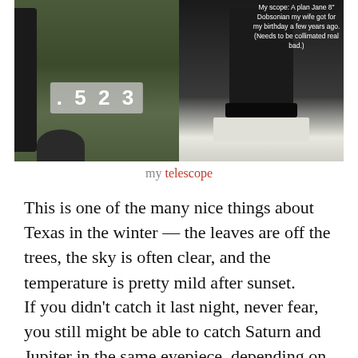[Figure (photo): Two side-by-side photos: left shows an outdoor scene with leaves on the ground and a dark telescope mount, with a number display overlay showing '-5 2 3'; right shows a close-up of a black Dobsonian telescope tube on a white base, with text overlay reading 'My scope: A plan Jane 8" Dobsonian my wife got for my birthday a few years ago. (Needs to be collimated real bad.)']
my telescope
This is one of the many nice things about Texas in the winter — the leaves are off the trees, the sky is often clear, and the temperature is pretty mild after sunset.
If you didn't catch it last night, never fear, you still might be able to catch Saturn and Jupiter in the same eyepiece, depending on where you are — I took these photos on Sunday night. (The first time my wife got to see